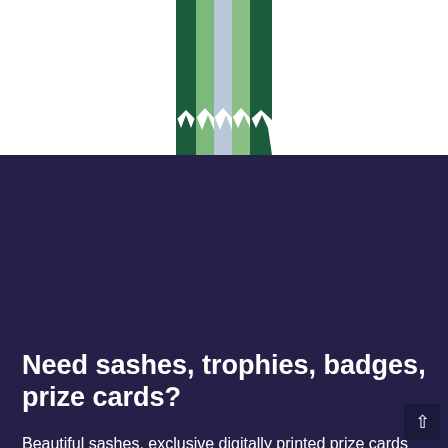[Figure (illustration): A green and white multi-ribbon rosette/sash hanging downward, with dark green, light green, and pale blue-grey ribbon strands, zigzag-cut at the bottom.]
Need sashes, trophies, badges, prize cards?
Beautiful sashes, exclusive digitally printed prize cards and badges and lots of lovely trophies. Click on the images below to take you to each collection.